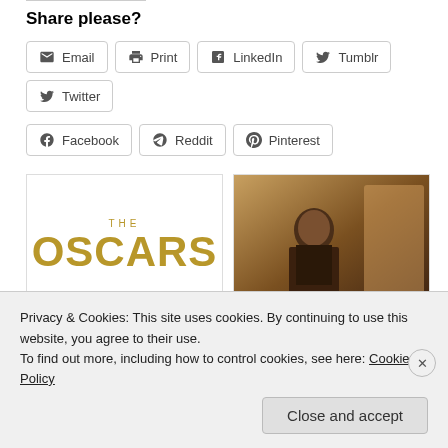Share please?
Email
Print
LinkedIn
Tumblr
Twitter
Facebook
Reddit
Pinterest
[Figure (logo): THE OSCARS logo in gold text]
[Figure (photo): Photo of a woman sitting indoors in dim lighting]
Privacy & Cookies: This site uses cookies. By continuing to use this website, you agree to their use.
To find out more, including how to control cookies, see here: Cookie Policy
Close and accept